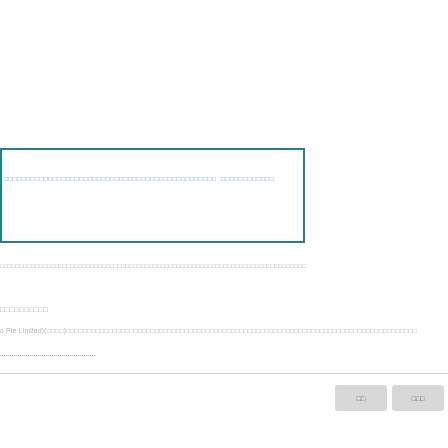□□□□□□□□□□□□□□□□□□□□□□□□□□□□□□□□□□□□□□□□□□□□□□□□  □□□□□□□□□□□□
□□□□□□□□□□□□□□□□□□□□□□□□□□□□□□□□□□□□□□□□□□□□□□□□□□□□□□□□□□□□□□□□□□□□□□□□□□□□□□
□□□□□□□□□□
o Pte Limited)(□□□□)□□□□□□□□□□□□□□□□□□□□□□□□□□□□□□□□□□□□□□□□□□□□□□□□□□□□□□□□□□□□□□□□□□□□□□□□□□□□□□□□□□□